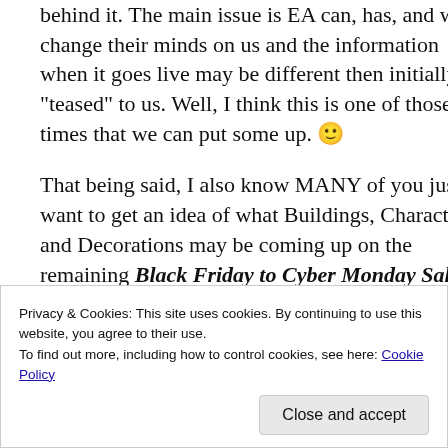behind it. The main issue is EA can, has, and will change their minds on us and the information when it goes live may be different then initially “teased” to us. Well, I think this is one of those times that we can put some up. 🙂
That being said, I also know MANY of you just want to get an idea of what Buildings, Characters, and Decorations may be coming up on the remaining Black Friday to Cyber Monday Sales. I have compiled a list
Privacy & Cookies: This site uses cookies. By continuing to use this website, you agree to their use.
To find out more, including how to control cookies, see here: Cookie Policy
Close and accept
they all were and things. Anyways